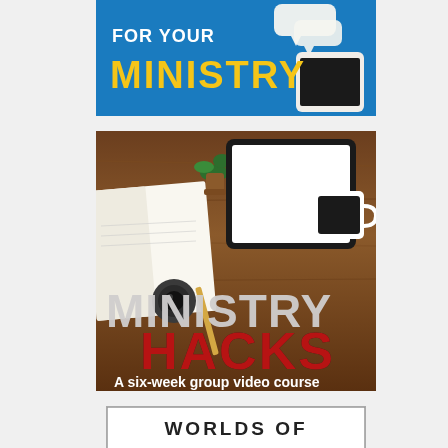[Figure (illustration): Blue background promotional banner with speech bubbles and a smartphone. Yellow bold text reads 'FOR YOUR' and 'MINISTRY' on the left side.]
[Figure (illustration): Photo of a wooden desk with a notebook, tablet, small plant, camera lens, coffee cup. Overlaid text: 'MINISTRY HACKS' in large bold white/red letters, and below 'A six-week group video course' in white.]
[Figure (illustration): Partial view of a bordered box with bold black text 'WORLDS OF' on white background.]